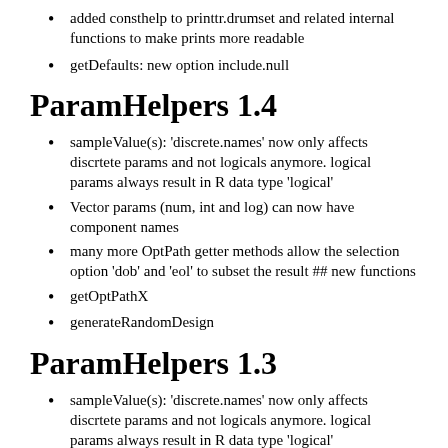added consthelp to printtr.drumset and related internal functions to make prints more readable
getDefaults: new option include.null
ParamHelpers 1.4
sampleValue(s): ‘discrete.names’ now only affects discrtete params and not logicals anymore. logical params always result in R data type ‘logical’
Vector params (num, int and log) can now have component names
many more OptPath getter methods allow the selection option ‘dob’ and ‘eol’ to subset the result ## new functions
getOptPathX
generateRandomDesign
ParamHelpers 1.3
sampleValue(s): ‘discrete.names’ now only affects discrtete params and not logicals anymore. logical params always result in R data type ‘logical’
Vector params (num, int and log) can now have component names Functions that produce such vector values